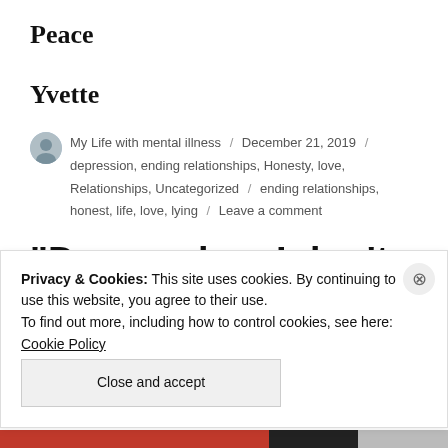Peace
Yvette
My Life with mental illness / December 21, 2019 / depression, ending relationships, Honesty, love, Relationships, Uncategorized / ending relationships, honest, life, love, lying / Leave a comment
“Depression. I don’t get
Privacy & Cookies: This site uses cookies. By continuing to use this website, you agree to their use.
To find out more, including how to control cookies, see here: Cookie Policy
Close and accept